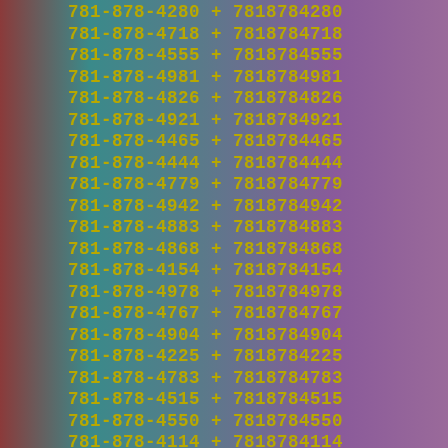781-878-4280 + 7818784280
781-878-4718 + 7818784718
781-878-4555 + 7818784555
781-878-4981 + 7818784981
781-878-4826 + 7818784826
781-878-4921 + 7818784921
781-878-4465 + 7818784465
781-878-4444 + 7818784444
781-878-4779 + 7818784779
781-878-4942 + 7818784942
781-878-4883 + 7818784883
781-878-4868 + 7818784868
781-878-4154 + 7818784154
781-878-4978 + 7818784978
781-878-4767 + 7818784767
781-878-4904 + 7818784904
781-878-4225 + 7818784225
781-878-4783 + 7818784783
781-878-4515 + 7818784515
781-878-4550 + 7818784550
781-878-4114 + 7818784114
781-878-4777 + 7818784777
781-878-4312 + 7818784312